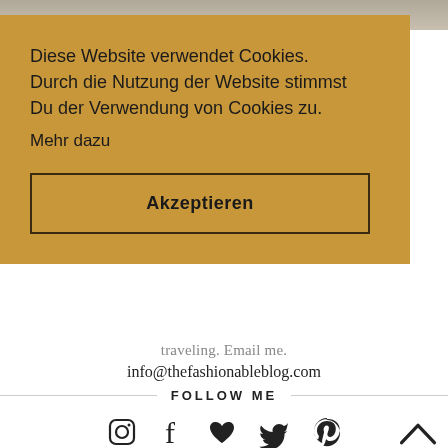[Figure (photo): Top photo strip showing people, partially visible]
Diese Website verwendet Cookies. Durch die Nutzung der Website stimmst Du der Verwendung von Cookies zu.
Mehr dazu
Akzeptieren
traveling. Email me.
info@thefashionableblog.com
FOLLOW ME
[Figure (illustration): Social media icons row: Instagram, Facebook, heart/like, Twitter, Pinterest]